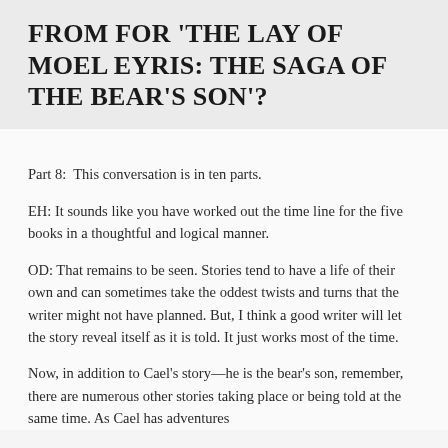FROM FOR 'THE LAY OF MOEL EYRIS: THE SAGA OF THE BEAR'S SON'?
Part 8:  This conversation is in ten parts.
EH: It sounds like you have worked out the time line for the five books in a thoughtful and logical manner.
OD: That remains to be seen. Stories tend to have a life of their own and can sometimes take the oddest twists and turns that the writer might not have planned. But, I think a good writer will let the story reveal itself as it is told. It just works most of the time.
Now, in addition to Cael's story—he is the bear's son, remember, there are numerous other stories taking place or being told at the same time. As Cael has adventures